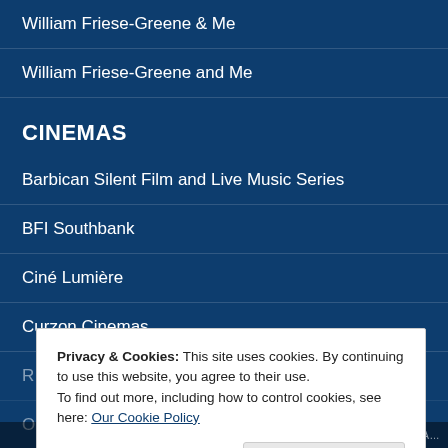William Friese-Greene & Me
William Friese-Greene and Me
CINEMAS
Barbican Silent Film and Live Music Series
BFI Southbank
Ciné Lumière
Curzon Cinemas
Privacy & Cookies: This site uses cookies. By continuing to use this website, you agree to their use.
To find out more, including how to control cookies, see here: Our Cookie Policy
Close and accept